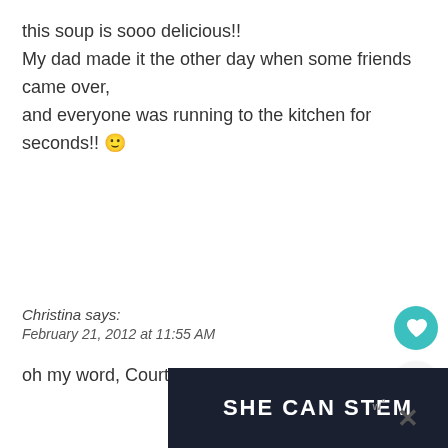this soup is sooo delicious!!
My dad made it the other day when some friends came over,
and everyone was running to the kitchen for seconds!! 🙂
Reply
Christina says:
February 21, 2012 at 11:55 AM
oh my word, Courtney! This looks SO GOOD
[Figure (other): Advertisement banner with text SHE CAN STEM on dark background with close button]